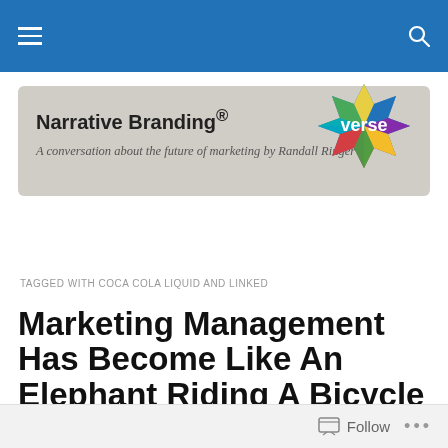Navigation bar with hamburger menu and search icon
[Figure (logo): Narrative Branding blog header with 'verse' starburst logo, title 'Narrative Branding®', subtitle 'A conversation about the future of marketing by Randall Ringer']
TAGGED WITH COCA COLA LIQUID AND LINKED
Marketing Management Has Become Like An Elephant Riding A Bicycle – or – What Big Data Taught Me
Follow ...